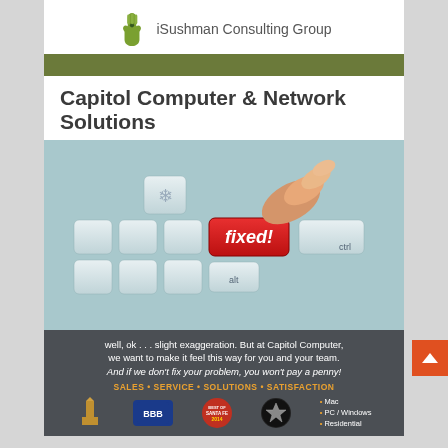[Figure (logo): iSushman Consulting Group logo with green hand icon and text]
Capitol Computer & Network Solutions
[Figure (infographic): Advertisement for Capitol Computer & Network Solutions showing a keyboard with a red 'fixed!' key being pressed by a finger, with text 'It can be this easy to fix computers?', tagline 'well, ok... slight exaggeration. But at Capitol Computer, we want to make it feel this way for you and your team. And if we don't fix your problem, you won't pay a penny!', 'SALES + SERVICE + SOLUTIONS + SATISFACTION', logos for BBB, Best of Santa Fe, Santa Fe Chamber of Commerce, and bullet points for Mac, PC/Windows, Residential]